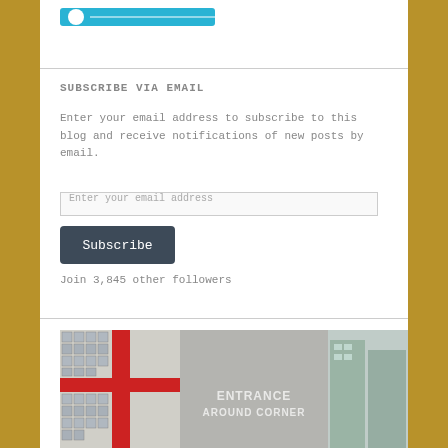[Figure (screenshot): Cyan/blue button bar partially visible at top of page]
SUBSCRIBE VIA EMAIL
Enter your email address to subscribe to this blog and receive notifications of new posts by email.
Enter your email address
Subscribe
Join 3,845 other followers
[Figure (photo): Street-level photo showing a building entrance with red cross window grid on left, concrete wall with 'ENTRANCE AROUND CORNER' sign in center, and buildings visible on right side]